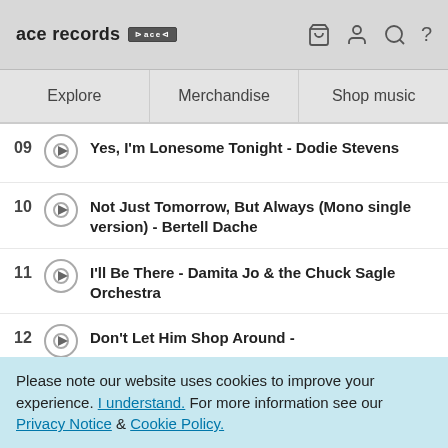ace records [logo] [cart] [user] [search] [?]
Explore | Merchandise | Shop music
09 Yes, I'm Lonesome Tonight - Dodie Stevens
10 Not Just Tomorrow, But Always (Mono single version) - Bertell Dache
11 I'll Be There - Damita Jo & the Chuck Sagle Orchestra
12 Don't Let Him Shop Around - ...
Please note our website uses cookies to improve your experience. I understand. For more information see our Privacy Notice & Cookie Policy.